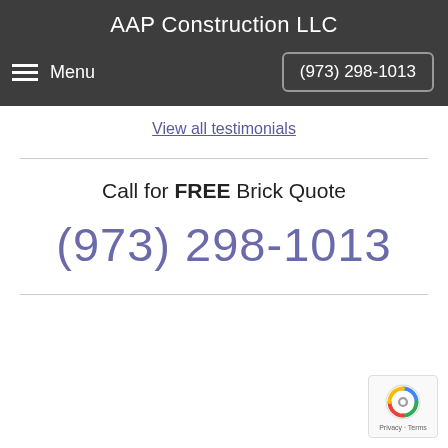AAP Construction LLC
Menu   (973) 298-1013
View all testimonials
Call for FREE Brick Quote
(973) 298-1013
[Figure (logo): reCAPTCHA badge with Privacy - Terms text]